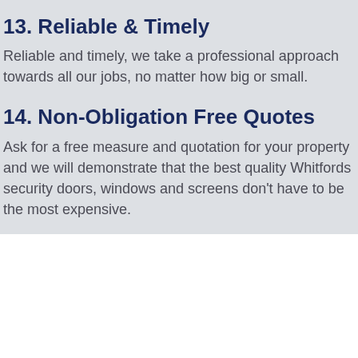13. Reliable & Timely
Reliable and timely, we take a professional approach towards all our jobs, no matter how big or small.
14. Non-Obligation Free Quotes
Ask for a free measure and quotation for your property and we will demonstrate that the best quality Whitfords security doors, windows and screens don't have to be the most expensive.